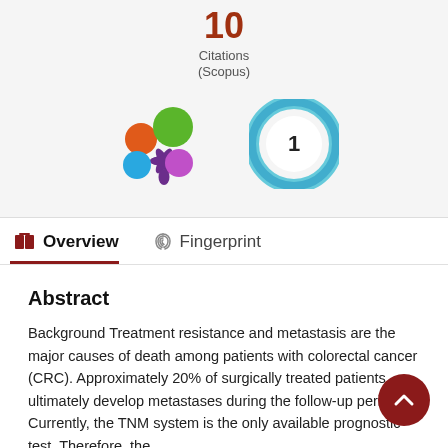10 Citations (Scopus)
[Figure (logo): Altmetric badge - colorful flower icon with orange, green, blue, and purple circles]
[Figure (logo): Open access donut badge showing number 1]
Overview
Fingerprint
Abstract
Background Treatment resistance and metastasis are the major causes of death among patients with colorectal cancer (CRC). Approximately 20% of surgically treated patients ultimately develop metastases during the follow-up period. Currently, the TNM system is the only available prognostic test. Therefore, the